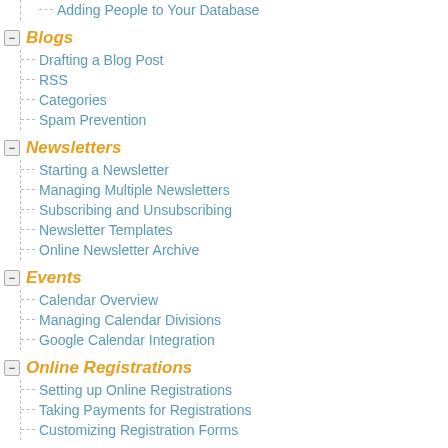Adding People to Your Database
Blogs
Drafting a Blog Post
RSS
Categories
Spam Prevention
Newsletters
Starting a Newsletter
Managing Multiple Newsletters
Subscribing and Unsubscribing
Newsletter Templates
Online Newsletter Archive
Events
Calendar Overview
Managing Calendar Divisions
Google Calendar Integration
Online Registrations
Setting up Online Registrations
Taking Payments for Registrations
Customizing Registration Forms